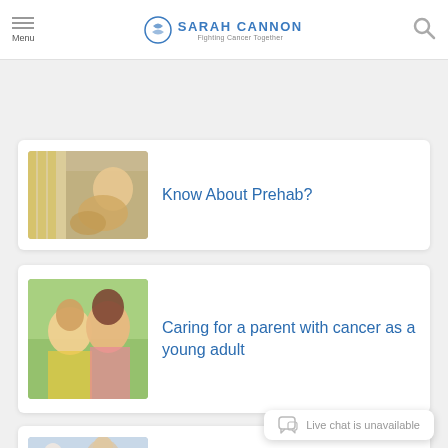Menu | SARAH CANNON Fighting Cancer Together
[Figure (photo): Person doing physical therapy/exercise in a gym setting]
Know About Prehab?
[Figure (photo): Two women smiling together, one older and one younger, outdoors]
Caring for a parent with cancer as a young adult
[Figure (photo): Older man in blue sweater sitting across from a doctor at a desk]
What is Palliative Care?
Live chat is unavailable